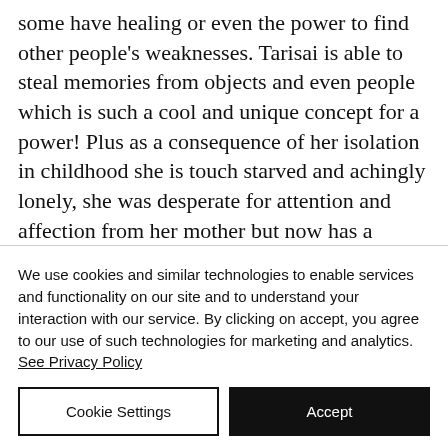some have healing or even the power to find other people's weaknesses. Tarisai is able to steal memories from objects and even people which is such a cool and unique concept for a power! Plus as a consequence of her isolation in childhood she is touch starved and achingly lonely, she was desperate for attention and affection from her mother but now has a chance to fit in with a new family...
We use cookies and similar technologies to enable services and functionality on our site and to understand your interaction with our service. By clicking on accept, you agree to our use of such technologies for marketing and analytics. See Privacy Policy